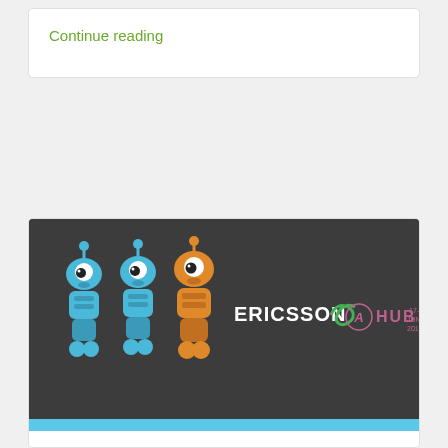Continue reading
[Figure (illustration): Dark banner with three cartoon robot characters (two blue, one orange) and Ericsson logo with AHUB branding]
Join The Networked